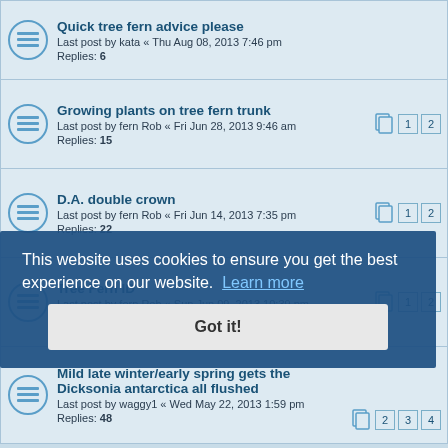Quick tree fern advice please
Last post by kata « Thu Aug 08, 2013 7:46 pm
Replies: 6
Growing plants on tree fern trunk
Last post by fern Rob « Fri Jun 28, 2013 9:46 am
Replies: 15
D.A. double crown
Last post by fern Rob « Fri Jun 14, 2013 7:35 pm
Replies: 22
Tree Fern ID
Last post by fern Rob « Sun Jun 09, 2013 10:39 pm
Replies: 18
Mild late winter/early spring gets the Dicksonia antarctica all flushed
Last post by waggy1 « Wed May 22, 2013 1:59 pm
Replies: 48
This website uses cookies to ensure you get the best experience on our website. Learn more
Got it!